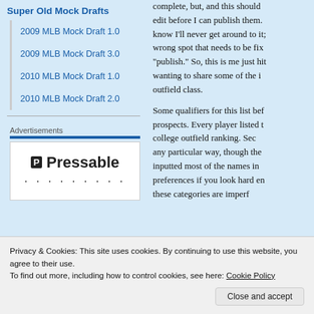Super Old Mock Drafts
2009 MLB Mock Draft 1.0
2009 MLB Mock Draft 3.0
2010 MLB Mock Draft 1.0
2010 MLB Mock Draft 2.0
Advertisements
[Figure (logo): Pressable logo with P icon and dotted line below]
complete, but, and this should edit before I can publish them. know I'll never get around to it; wrong spot that needs to be fix "publish." So, this is me just hi wanting to share some of the i outfield class.
Some qualifiers for this list bef prospects. Every player listed college outfield ranking. Sec any particular way, though the inputted most of the names in preferences if you look hard e these categories are imperf
Privacy & Cookies: This site uses cookies. By continuing to use this website, you agree to their use.
To find out more, including how to control cookies, see here: Cookie Policy
Close and accept